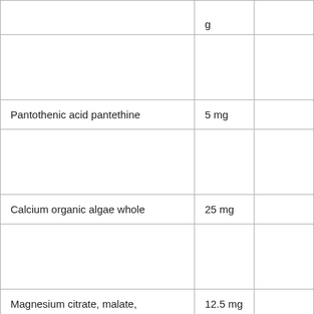| Ingredient | Amount |  |
| --- | --- | --- |
|  | g |  |
|  |  |  |
| Pantothenic acid pantethine | 5 mg |  |
|  |  |  |
| Calcium organic algae whole | 25 mg |  |
|  |  |  |
| Magnesium citrate, malate, succinate, glycinate, aspartate, ascorbate | 12.5 mg |  |
|  |  |  |
| Zinc picolinate | 7.5 mg |  |